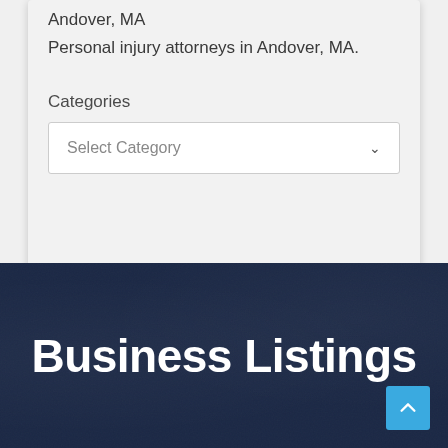Andover, MA
Personal injury attorneys in Andover, MA.
Categories
Select Category
Business Listings